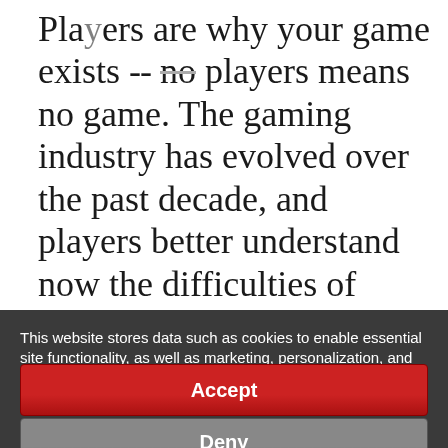Players are why your game exists -- no players means no game. The gaming industry has evolved over the past decade, and players better understand now the difficulties of running a game. By working with your community and focusing on them during your
This website stores data such as cookies to enable essential site functionality, as well as marketing, personalization, and analytics. Privacy Policy
Accept
Deny